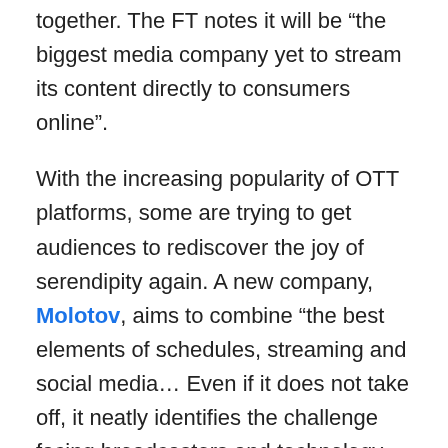together. The FT notes it will be “the biggest media company yet to stream its content directly to consumers online”.
With the increasing popularity of OTT platforms, some are trying to get audiences to rediscover the joy of serendipity again. A new company, Molotov, aims to combine “the best elements of schedules, streaming and social media… Even if it does not take off, it neatly identifies the challenge facing broadcasters and technology companies: how can TV be better? And is there still life in the television schedule?”. Its UX has been compared to Spotify, allows a personalised programming guide, as well as bookmarking shows, actors and politicians. Moreover, Molotov also lets viewers know which shows are particularly popular on social media, as well as which of their Facebook friends like particular shows. “The idea”